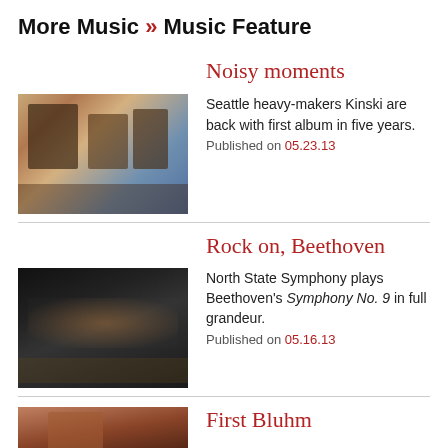More Music » Music Feature
Noisy moments
[Figure (photo): Band photo, musicians in a colorful room]
Seattle heavy-makers Kinski are back with first album in five years.
Published on 05.23.13
Rock on, Beethoven
[Figure (photo): Orchestra photo, dark stage with musicians]
North State Symphony plays Beethoven's <i>Symphony No. 9</i> in full grandeur.
Published on 05.16.13
First Bluhm
[Figure (photo): Close-up portrait photo]